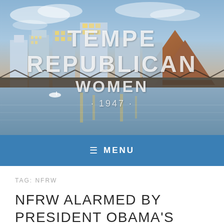[Figure (photo): Aerial/waterfront view of Tempe, Arizona skyline at dusk with bridge over water and mountain in background. Logo overlay reads 'TEMPE REPUBLICAN WOMEN 1947'.]
≡ MENU
TAG: NFRW
NFRW ALARMED BY PRESIDENT OBAMA'S STRESS ON EXECUTIVE